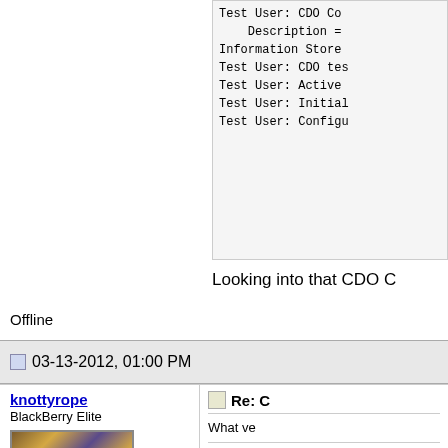Test User: CDO Co...
    Description =
Information Store...
Test User: CDO tes...
Test User: Active...
Test User: Initial...
Test User: Configu...
Looking into that CDO C...
Offline
03-13-2012, 01:00 PM
knottyrope
BlackBerry Elite
[Figure (illustration): Knotty Rope avatar image showing stylized text 'KNOTTY ROPE' in a rope-like font with brown and blue colors]
Join Date: Jan 2008
Location: Massachusetts
Re: C...
What ve...
dont tell...
click it
I had to...
To lose i...
But in th...
It doesn...